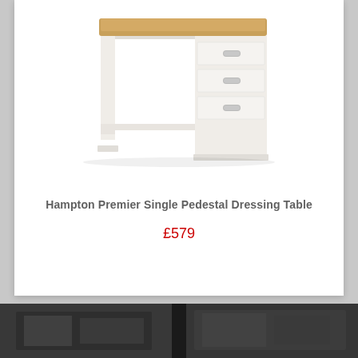[Figure (photo): White painted wooden single pedestal dressing table with oak top surface and three drawers on the right side with silver cup handles]
Hampton Premier Single Pedestal Dressing Table
£579
[Figure (photo): Dark bottom strip showing partial images of furniture items]